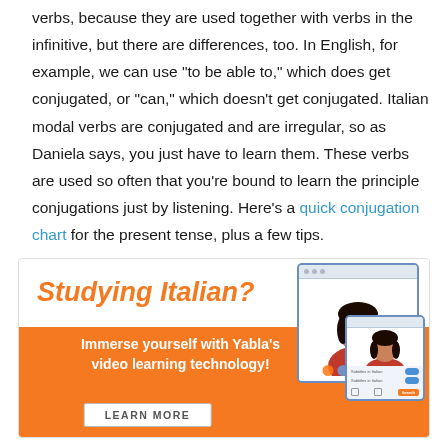verbs, because they are used together with verbs in the infinitive, but there are differences, too. In English, for example, we can use "to be able to," which does get conjugated, or "can," which doesn't get conjugated. Italian modal verbs are conjugated and are irregular, so as Daniela says, you just have to learn them. These verbs are used so often that you're bound to learn the principle conjugations just by listening. Here's a quick conjugation chart for the present tense, plus a few tips.
[Figure (infographic): Advertisement banner for Yabla Italian language learning. Orange and white banner with text 'Studying Italian?' in orange italic, 'Immerse yourself with Yabla's video learning technology!' in white on orange background, a 'LEARN MORE' button, and browser window mockups showing a person learning Italian.]